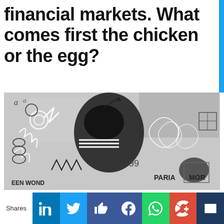financial markets. What comes first the chicken or the egg?
[Figure (illustration): Black and white graffiti-style abstract artwork showing chaotic line drawings with text fragments including 'PARIA', 'MOR', 'EEN WOND' visible in the image.]
Shares
[Figure (infographic): Social sharing bar with icons for LinkedIn, Twitter, Like (thumbs up), Facebook, WhatsApp, Google+, and email/mail buttons in their respective brand colors.]